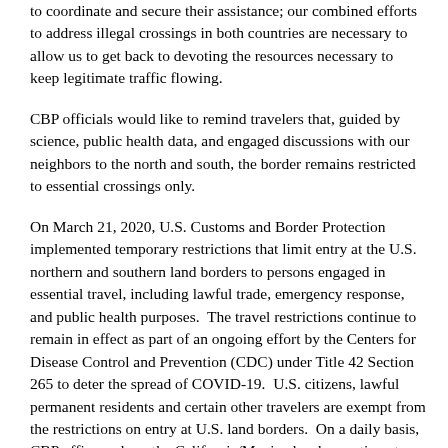to coordinate and secure their assistance; our combined efforts to address illegal crossings in both countries are necessary to allow us to get back to devoting the resources necessary to keep legitimate traffic flowing.
CBP officials would like to remind travelers that, guided by science, public health data, and engaged discussions with our neighbors to the north and south, the border remains restricted to essential crossings only.
On March 21, 2020, U.S. Customs and Border Protection implemented temporary restrictions that limit entry at the U.S. northern and southern land borders to persons engaged in essential travel, including lawful trade, emergency response, and public health purposes.  The travel restrictions continue to remain in effect as part of an ongoing effort by the Centers for Disease Control and Prevention (CDC) under Title 42 Section 265 to deter the spread of COVID-19.  U.S. citizens, lawful permanent residents and certain other travelers are exempt from the restrictions on entry at U.S. land borders.  On a daily basis, CBP officers along the California/Mexico border continue to restrict travelers that are not exempt from crossing the border for non-